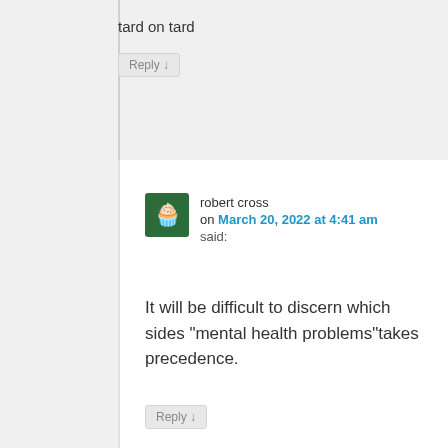tard on tard
Reply ↓
robert cross
on March 20, 2022 at 4:41 am
said:
It will be difficult to discern which sides “mental health problems”takes precedence.
Reply ↓